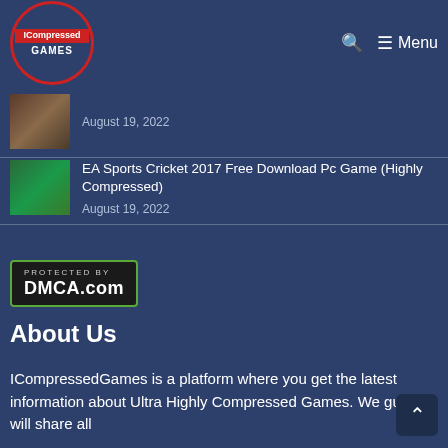ICompressed GAMES — Menu
August 19, 2022
EA Sports Cricket 2017 Free Download Pc Game (Highly Compressed) — August 19, 2022
[Figure (logo): DMCA.com Protected By badge with green border]
About Us
ICompressedGames is a platform where you get the latest information about Ultra Highly Compressed Games. We guy's will share all